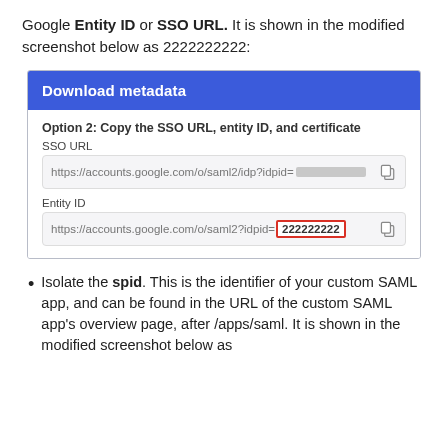Google Entity ID or SSO URL. It is shown in the modified screenshot below as 2222222222:
[Figure (screenshot): Google Admin console screenshot showing 'Download metadata' panel with Option 2: Copy the SSO URL, entity ID, and certificate. Shows SSO URL field with blurred value and Entity ID field with highlighted value 'https://accounts.google.com/o/saml2?idpid= 222222222' (222222222 highlighted in red box).]
Isolate the spid. This is the identifier of your custom SAML app, and can be found in the URL of the custom SAML app's overview page, after /apps/saml. It is shown in the modified screenshot below as